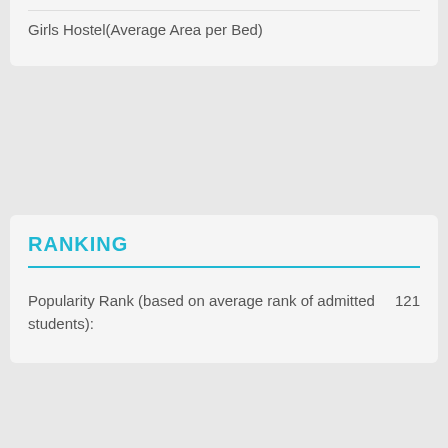Girls Hostel(Average Area per Bed)
RANKING
Popularity Rank (based on average rank of admitted students): 121